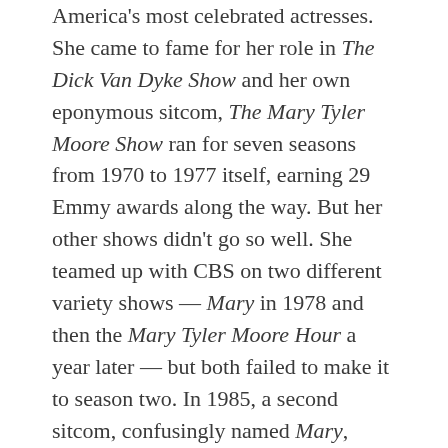America's most celebrated actresses. She came to fame for her role in The Dick Van Dyke Show and her own eponymous sitcom, The Mary Tyler Moore Show ran for seven seasons from 1970 to 1977 itself, earning 29 Emmy awards along the way. But her other shows didn't go so well. She teamed up with CBS on two different variety shows — Mary in 1978 and then the Mary Tyler Moore Hour a year later — but both failed to make it to season two. In 1985, a second sitcom, confusingly named Mary, similarly bombed — it lasted 13 episodes.
It did, however, make one newspaper publisher very upset.
In Mary, Moore plays Mary Brenner, a divorced 40-something writer in Chicago